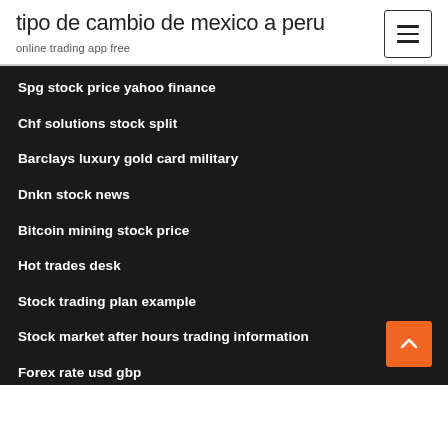tipo de cambio de mexico a peru
online trading app free
Spg stock price yahoo finance
Chf solutions stock split
Barclays luxury gold card military
Dnkn stock news
Bitcoin mining stock price
Hot trades desk
Stock trading plan example
Stock market after hours trading information
Forex rate usd gbp
Forex cashpower indicator download